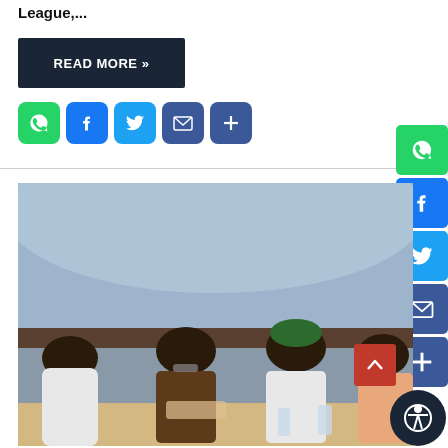League,...
READ MORE »
[Figure (infographic): Social sharing icons row: WhatsApp (green), Facebook (blue), Twitter (blue), Email (blue), More/Share (blue)]
[Figure (infographic): Vertical social sharing icons on right side: WhatsApp, Facebook, Twitter, Email, More/Share]
[Figure (photo): A group of men in traditional Nigerian attire seated at a table at a formal meeting or event, with blue draped background. A man in brown outfit writes at the center, others look on.]
[Figure (other): Scroll to top button (red) and accessibility icon button (dark)]